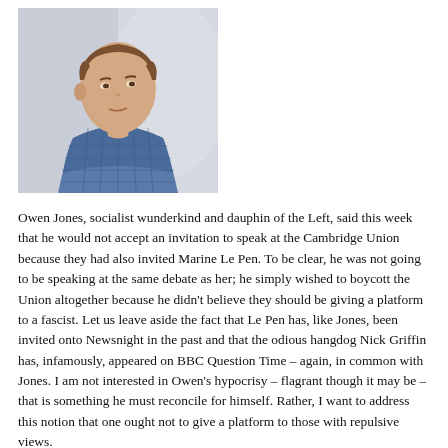[Figure (photo): Head and shoulders photo of a young man with short brown hair wearing a blue checked shirt, looking to the left, with a blurred background.]
Owen Jones, socialist wunderkind and dauphin of the Left, said this week that he would not accept an invitation to speak at the Cambridge Union because they had also invited Marine Le Pen. To be clear, he was not going to be speaking at the same debate as her; he simply wished to boycott the Union altogether because he didn't believe they should be giving a platform to a fascist. Let us leave aside the fact that Le Pen has, like Jones, been invited onto Newsnight in the past and that the odious hangdog Nick Griffin has, infamously, appeared on BBC Question Time – again, in common with Jones. I am not interested in Owen's hypocrisy – flagrant though it may be – that is something he must reconcile for himself. Rather, I want to address this notion that one ought not to give a platform to those with repulsive views.
As it happens, I attended a debate at the Cambridge Union back in April 2003, and the keynote speaker was none other than Le Pen –